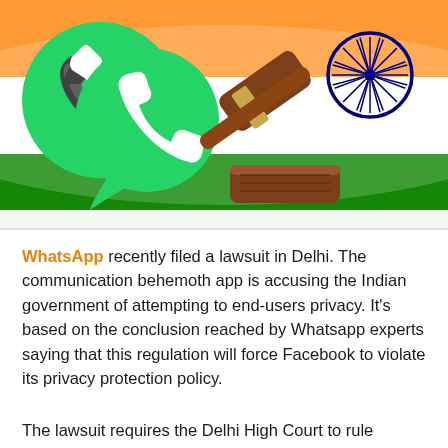[Figure (illustration): Composite illustration showing the WhatsApp logo (green speech bubble with white phone handset), a wooden judge's gavel and sound block, overlaid on the Indian national flag (saffron, white, green stripes with blue Ashoka Chakra). Depicts WhatsApp's legal action against the Indian government.]
WhatsApp recently filed a lawsuit in Delhi. The communication behemoth app is accusing the Indian government of attempting to end-users privacy. It's based on the conclusion reached by Whatsapp experts saying that this regulation will force Facebook to violate its privacy protection policy.
The lawsuit requires the Delhi High Court to rule